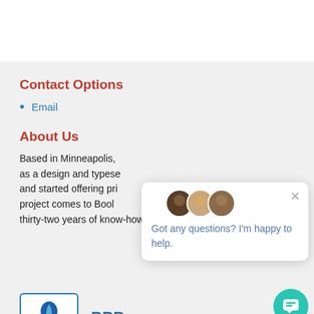Contact Options
Email
About Us
Based in Minneapolis, as a design and typese and started offering pri project comes to Bool thirty-two years of know-how. More
[Figure (other): Chat popup with three avatar images and message: Got any questions? I'm happy to help.]
[Figure (other): Teal chat widget button in bottom right corner]
[Figure (logo): BBB (Better Business Bureau) logo in a rounded rectangle with blue flame/shield icon, next to bold blue BBB text]